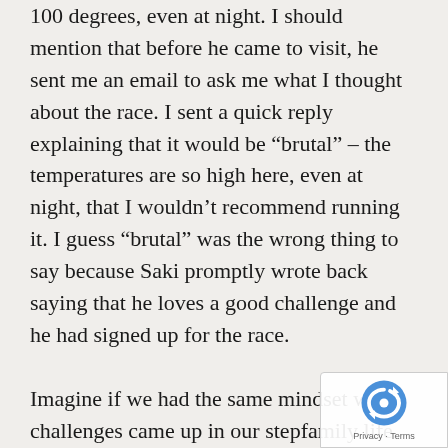100 degrees, even at night. I should mention that before he came to visit, he sent me an email to ask me what I thought about the race. I sent a quick reply explaining that it would be “brutal” – the temperatures are so high here, even at night, that I wouldn’t recommend running it. I guess “brutal” was the wrong thing to say because Saki promptly wrote back saying that he loves a good challenge and he had signed up for the race.
Imagine if we had the same mindset when challenges came up in our stepfamily life. What if, instead of shying away from those challenges, we embraced them and used them as an opportunity for personal
[Figure (other): reCAPTCHA badge with Privacy and Terms links]